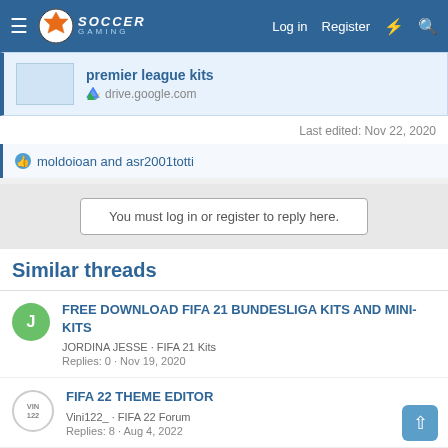Soccer Gaming — Log in   Register
[Figure (screenshot): Link card for premier league kits on drive.google.com]
Last edited: Nov 22, 2020
moldoioan and asr2001totti
You must log in or register to reply here.
Similar threads
FREE DOWNLOAD FIFA 21 BUNDESLIGA KITS AND MINI-KITS
JORDINA JESSE · FIFA 21 Kits
Replies: 0 · Nov 19, 2020
FIFA 22 THEME EDITOR
Vini122_ · FIFA 22 Forum
Replies: 8 · Aug 4, 2022